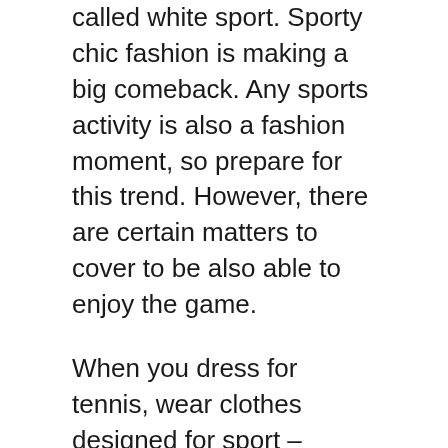called white sport. Sporty chic fashion is making a big comeback. Any sports activity is also a fashion moment, so prepare for this trend. However, there are certain matters to cover to be also able to enjoy the game.
When you dress for tennis, wear clothes designed for sport – stretchy and allow sweat to pass through and tennis shoes with non-marking soles. Official tennis clubs require wearing tennis attire, while open courts don't. Whether you are obliged or not to a specific dress code, your gear should allow free movement and fit you well. Women traditionally wear a polo shirt or tank top with a skirt with built-in shorts or a dress and rarely simply shorts. One-piece suits are also a fashionable option. Socks are a piece of